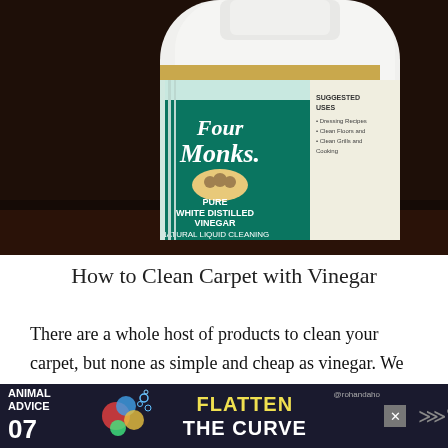[Figure (photo): Close-up photo of a Four Monks Pure White Distilled Vinegar bottle on a dark wooden surface. The bottle has a teal/green and white label with the brand name 'Four Monks' and suggested uses listed on the right side of the label.]
How to Clean Carpet with Vinegar
There are a whole host of products to clean your carpet, but none as simple and cheap as vinegar. We share how to clean your carpet with vinegar only.
[Figure (screenshot): Advertisement banner at the bottom of the page with dark blue/navy background. Shows 'ANIMAL ADVICE 07' on the left, a colorful fish illustration, and large text 'FLATTEN THE CURVE' in yellow/white. Handle '@rohandaho' and a close button visible on the right.]